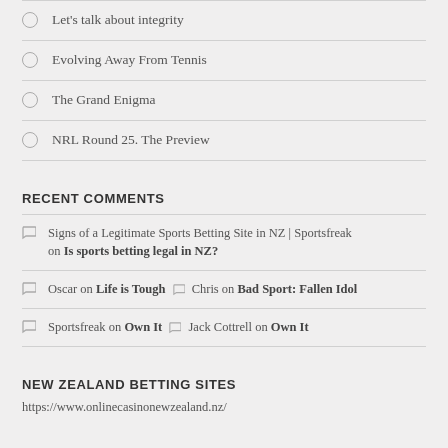Let's talk about integrity
Evolving Away From Tennis
The Grand Enigma
NRL Round 25. The Preview
RECENT COMMENTS
Signs of a Legitimate Sports Betting Site in NZ | Sportsfreak on Is sports betting legal in NZ?
Oscar on Life is Tough  Chris on Bad Sport: Fallen Idol
Sportsfreak on Own It  Jack Cottrell on Own It
NEW ZEALAND BETTING SITES
https://www.onlinecasinonewzealand.nz/